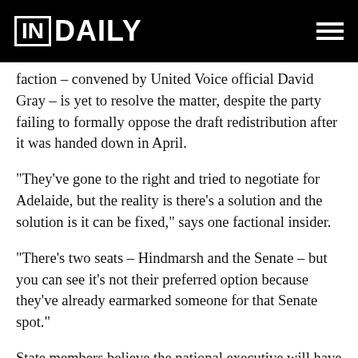IN DAILY
faction – convened by United Voice official David Gray – is yet to resolve the matter, despite the party failing to formally oppose the draft redistribution after it was handed down in April.
“They’ve gone to the right and tried to negotiate for Adelaide, but the reality is there’s a solution and the solution is it can be fixed,” says one factional insider.
“There’s two seats – Hindmarsh and the Senate – but you can see it’s not their preferred option because they’ve already earmarked someone for that Senate spot.”
State members believe the national executive will have to intervene to resolve the impasse, to avoid a messy split.